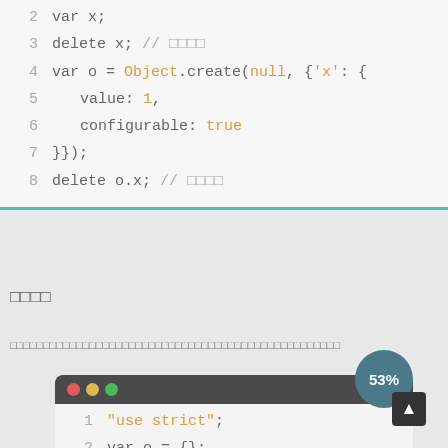[Figure (screenshot): Code editor screenshot showing JavaScript code with syntax highlighting. Lines 2-8 show: var x;  delete x; // [boxes]  var o = Object.create(null, {'x': {  value: 1,  configurable: true  }});  delete o.x; // [boxes]]
[boxes]
[boxes — Thai/CJK text describing delete operator behavior]
[Figure (screenshot): Dark-themed code editor screenshot showing JavaScript strict mode code: 1  "use strict";  2  var o = {};  3  Object.defineProperty(o, "v", { va...  4  o.v = 2; // [boxes]]